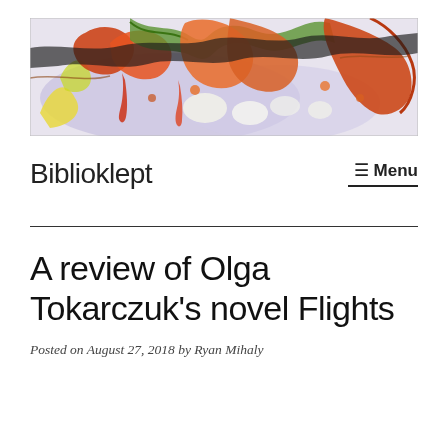[Figure (illustration): Colorful abstract surrealist artwork header image showing intertwined organic and figurative forms in orange, red, yellow, green and lavender/blue tones on a light background]
Biblioklept
A review of Olga Tokarczuk's novel Flights
Posted on August 27, 2018 by Ryan Mihaly